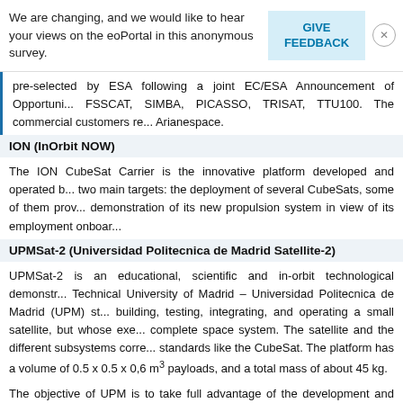We are changing, and we would like to hear your views on the eoPortal in this anonymous survey.
GIVE FEEDBACK
pre-selected by ESA following a joint EC/ESA Announcement of Opportunity (AO). The ESA-sponsored CubeSats are FSSCAT, SIMBA, PICASSO, TRISAT, TTU100. The commercial customers represented by Arianespace.
ION (InOrbit NOW)
The ION CubeSat Carrier is the innovative platform developed and operated by D-Orbit (Italy) with two main targets: the deployment of several CubeSats, some of them provided by ESA, and the demonstration of its new propulsion system in view of its employment onboard future satellites.
UPMSat-2 (Universidad Politecnica de Madrid Satellite-2)
UPMSat-2 is an educational, scientific and in-orbit technological demonstration satellite of the Technical University of Madrid – Universidad Politecnica de Madrid (UPM) students, not only for building, testing, integrating, and operating a small satellite, but whose execution follows a complete space system. The satellite and the different subsystems corresponds to no specific standards like the CubeSat. The platform has a volume of 0.5 x 0.5 x 0,6 m³ to accommodate payloads, and a total mass of about 45 kg.
The objective of UPM is to take full advantage of the development and operation of UPMSat for orbit demonstration purposes, considering the multi-role these projects play (education, research, industrial spin-off, international cooperation, etc.).